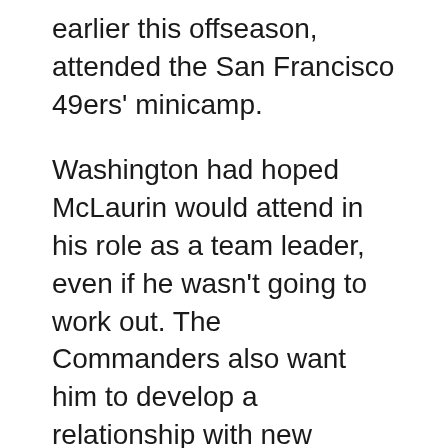earlier this offseason, attended the San Francisco 49ers' minicamp.
Washington had hoped McLaurin would attend in his role as a team leader, even if he wasn't going to work out. The Commanders also want him to develop a relationship with new quarterback Carson Wentz, whom he has not yet worked out with on the field.
Washington is scheduled to have a third minicamp practice Thursday. A player who misses all three days of minicamp could be fined a total of $93,085.
.